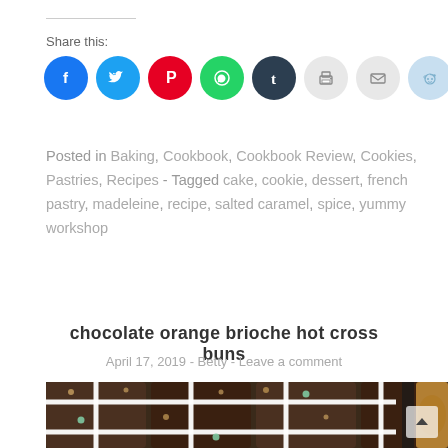Share this:
[Figure (infographic): Row of social media share buttons: Facebook (blue), Twitter (blue), Pinterest (red), WhatsApp (green), Tumblr (dark navy), Print (light gray), Email (light gray), Reddit (light blue)]
Posted in Baking, Cookbook, Cookbook Review, Cookies, Pastries, Recipes - Tagged cake, cookie, dessert, french pastry, madeleine, recipe, salted caramel, spice, yummy workshop
chocolate orange brioche hot cross buns
April 17, 2019 - Betty - Leave a comment
[Figure (photo): Overhead photo of chocolate orange brioche hot cross buns in a baking tray with white icing crosses, topped with crushed nuts and small colored candies, alongside a mug of drink]